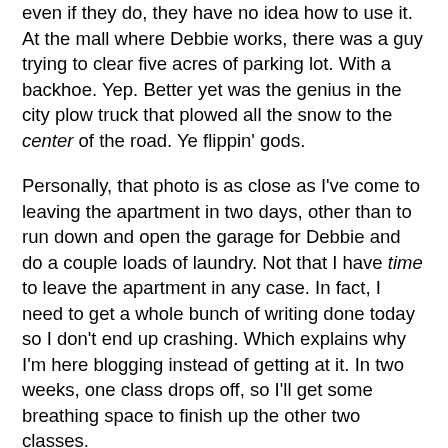even if they do, they have no idea how to use it. At the mall where Debbie works, there was a guy trying to clear five acres of parking lot. With a backhoe. Yep. Better yet was the genius in the city plow truck that plowed all the snow to the center of the road. Ye flippin' gods.
Personally, that photo is as close as I've come to leaving the apartment in two days, other than to run down and open the garage for Debbie and do a couple loads of laundry. Not that I have time to leave the apartment in any case. In fact, I need to get a whole bunch of writing done today so I don't end up crashing. Which explains why I'm here blogging instead of getting at it. In two weeks, one class drops off, so I'll get some breathing space to finish up the other two classes.
Come on, May 11.
Oh, and speaking of school, ya know that paper I had to write without the benefit of the text books? Grade: 100.00%. BS degree indeed. And I have no idea why the grading system runs out to four decimals, especially when the final